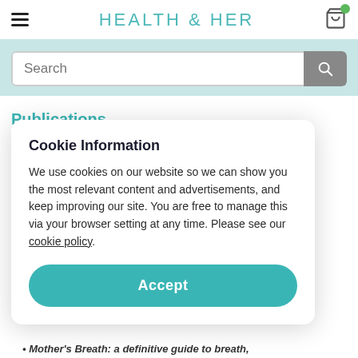HEALTH & HER
Search
Publications
Cookie Information

We use cookies on our website so we can show you the most relevant content and advertisements, and keep improving our site. You are free to manage this via your browser setting at any time. Please see our cookie policy.

Accept
Mother's Breath: a definitive guide to breath,